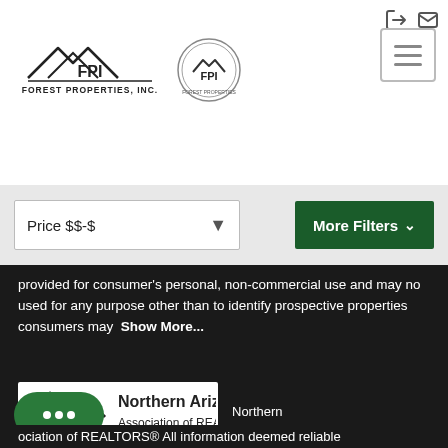[Figure (logo): FPI Forest Properties Inc. main logo with roof lines]
[Figure (logo): FPI circular badge logo]
[Figure (other): Hamburger menu button (three horizontal lines)]
[Figure (other): Price dropdown filter: Price $$-$]
[Figure (other): More Filters button (green)]
provided for consumer's personal, non-commercial use and may not be used for any purpose other than to identify prospective properties consumers may Show More...
[Figure (logo): NAAR Northern Arizona Association of REALTORS logo]
Northern
ociation of REALTORS® All information deemed reliable but not guaranteed. All properties are subject to prior sale, change or withdrawal. Neither listing broker(s) or information provider(s) shall